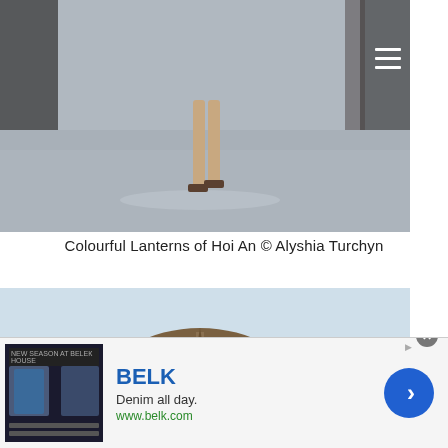[Figure (photo): Street scene from Hoi An showing legs of person walking in sandals on a wet road, with motorcycles and stalls on the sides]
Colourful Lanterns of Hoi An © Alyshia Turchyn
[Figure (photo): Landscape photo of a rocky hilltop with a pagoda/temple atop it, surrounded by green fields and karst mountains in the background, Vietnam]
[Figure (other): Advertisement banner for BELK clothing brand showing 'Denim all day.' tagline, www.belk.com URL, thumbnail images of clothing, and a blue arrow button]